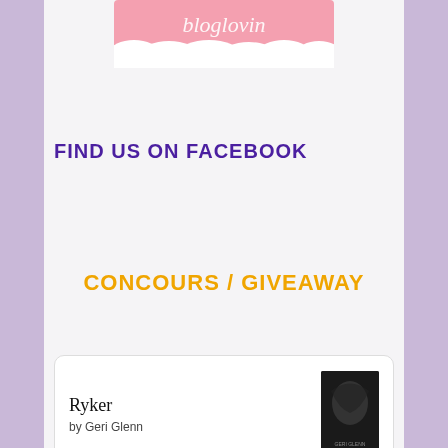[Figure (logo): Blog logo banner with cursive/script text on pink cloud background]
FIND US ON FACEBOOK
CONCOURS / GIVEAWAY
Ryker
by Geri Glenn
Réveil à la morgue
by Helen Harper